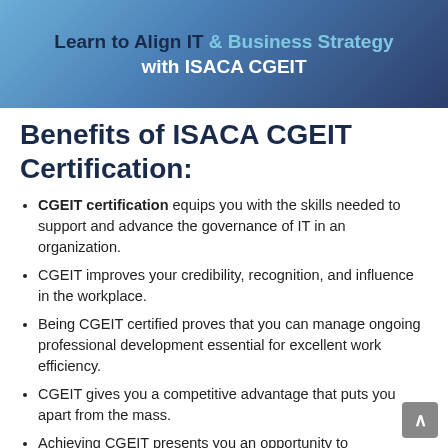[Figure (illustration): Banner with gradient background (light blue to dark navy) with text: 'Learn to Align IT & Business Strategy with ISACA CGEIT']
Benefits of ISACA CGEIT Certification:
CGEIT certification equips you with the skills needed to support and advance the governance of IT in an organization.
CGEIT improves your credibility, recognition, and influence in the workplace.
Being CGEIT certified proves that you can manage ongoing professional development essential for excellent work efficiency.
CGEIT gives you a competitive advantage that puts you apart from the mass.
Achieving CGEIT presents you an opportunity to